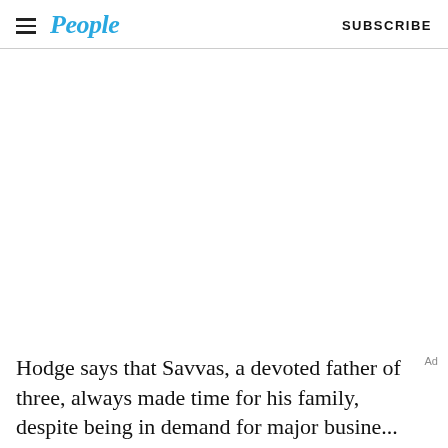People | SUBSCRIBE
[Figure (photo): Large image area, blank/white in this view]
Hodge says that Savvas, a devoted father of three, always made time for his family, despite being in demand for major business. "He was a real famil...